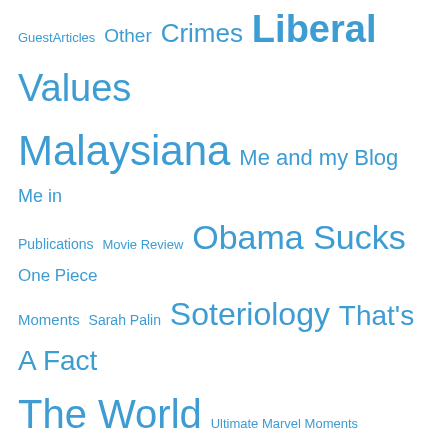GuestArticles Other Crimes Liberal Values Malaysiana Me and my Blog Me in Publications Movie Review Obama Sucks One Piece Moments Sarah Palin Soteriology That's A Fact The World Ultimate Marvel Moments UMNOpocrisy Uncategorized Uni Life Videos Webcomics Words
Top Rated
Posts | Pages | Comments
All | Today | This Week | This Month